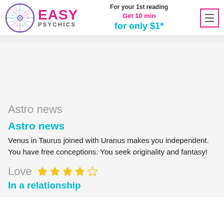EASY PSYCHICS — For your 1st reading Get 10 min for only $1*
Astro news
Astro news
Venus in Taurus joined with Uranus makes you independent. You have free conceptions. You seek originality and fantasy!
Love ★★★★☆
In a relationship